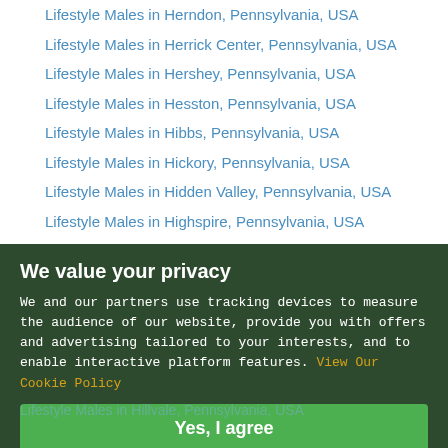Lifestyle Males in Herndon, Pennsylvania, USA
Lifestyle Males in Herrick Center, Pennsylvania, USA
Lifestyle Males in Hershey, Pennsylvania, USA
Lifestyle Males in Hesston, Pennsylvania, USA
Lifestyle Males in Hibbs, Pennsylvania, USA
Lifestyle Males in Hickory, Pennsylvania, USA
Lifestyle Males in Hidden Valley, Pennsylvania, USA
Lifestyle Males in Highspire, Pennsylvania, USA
Lifestyle Males in Hiller, Pennsylvania, USA
Lifestyle Males in Hillsdale, Pennsylvania, USA
Lifestyle Males in Hilltown, Pennsylvania, USA
Lifestyle Males in Hillvale, Pennsylvania, USA
Lifestyle Males in Holbrook, Pennsylvania, USA
Lifestyle Males in Holicong, Pennsylvania, USA
Lifestyle Males in Holtwood, Pennsylvania, USA
We value your privacy
We and our partners use tracking devices to measure the audience of our website, provide you with offers and advertising tailored to your interests, and to enable interactive platform features. View Our Cookie Policy
Yes, I agree
If you do not agree, please discontinue use of the site.